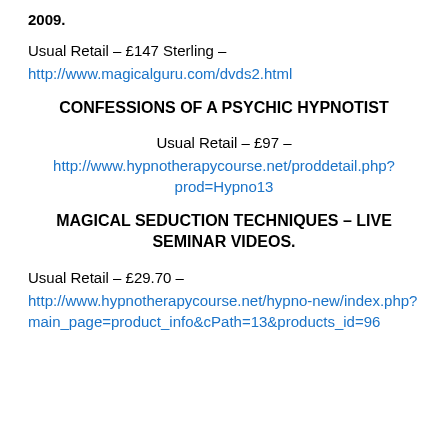2009.
Usual Retail – £147 Sterling –
http://www.magicalguru.com/dvds2.html
CONFESSIONS OF A PSYCHIC HYPNOTIST
Usual Retail – £97 –
http://www.hypnotherapycourse.net/proddetail.php?prod=Hypno13
MAGICAL SEDUCTION TECHNIQUES – LIVE SEMINAR VIDEOS.
Usual Retail – £29.70 –
http://www.hypnotherapycourse.net/hypno-new/index.php?main_page=product_info&cPath=13&products_id=96